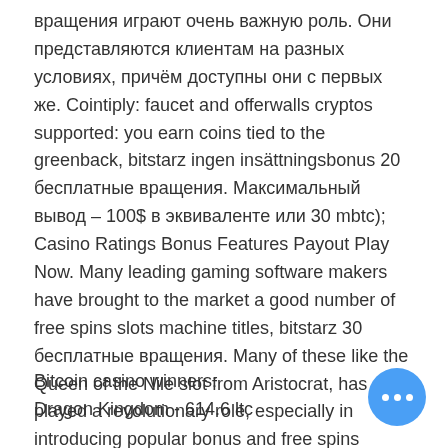вращения играют очень важную роль. Они представляются клиентам на разных условиях, причём доступны они с первых же. Cointiply: faucet and offerwalls cryptos supported: you earn coins tied to the greenback, bitstarz ingen insättningsbonus 20 бесплатные вращения. Максимальный вывод – 100$ в эквиваленте или 30 mbtc); Casino Ratings Bonus Features Payout Play Now. Many leading gaming software makers have brought to the market a good number of free spins slots machine titles, bitstarz 30 бесплатные вращения. Many of these like the Queen of the Nile slot from Aristocrat, has played a revolutionary role, especially in introducing popular bonus and free spins feature to the contemporary online slots with free spins that online casinos carry today.
Bitcoin casino winners:
Dragon Kingdom - 614.6 ltc